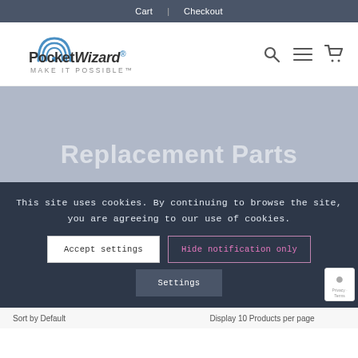Cart | Checkout
[Figure (logo): PocketWizard logo with text 'MAKE IT POSSIBLE']
Replacement Parts
This site uses cookies. By continuing to browse the site, you are agreeing to our use of cookies.
Accept settings
Hide notification only
Settings
Sort by Default   Display 10 Products per page